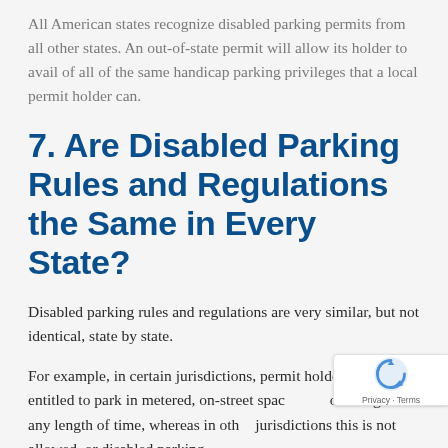All American states recognize disabled parking permits from all other states. An out-of-state permit will allow its holder to avail of all of the same handicap parking privileges that a local permit holder can.
7. Are Disabled Parking Rules and Regulations the Same in Every State?
Disabled parking rules and regulations are very similar, but not identical, state by state.
For example, in certain jurisdictions, permit holders are entitled to park in metered, on-street spaces free of charge for any length of time, whereas in other jurisdictions this is not allowed, or disabled parking